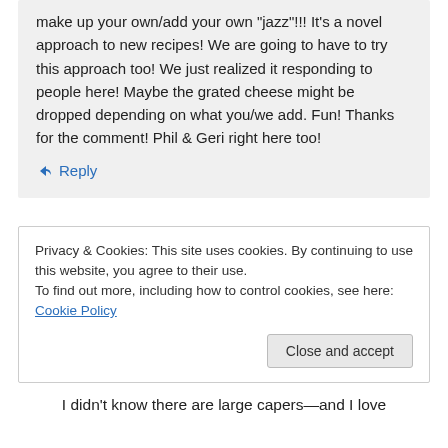make up your own/add your own "jazz"!!! It's a novel approach to new recipes! We are going to have to try this approach too! We just realized it responding to people here! Maybe the grated cheese might be dropped depending on what you/we add. Fun! Thanks for the comment! Phil & Geri right here too!
↳ Reply
Privacy & Cookies: This site uses cookies. By continuing to use this website, you agree to their use.
To find out more, including how to control cookies, see here: Cookie Policy
Close and accept
I didn't know there are large capers—and I love